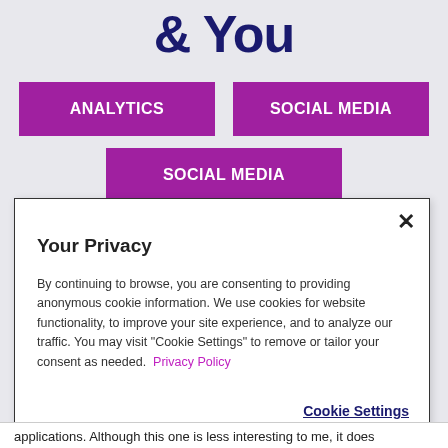& You
[Figure (infographic): Two purple buttons labeled ANALYTICS and SOCIAL MEDIA side by side, and a third purple button labeled SOCIAL MEDIA centered below them]
Your Privacy
By continuing to browse, you are consenting to providing anonymous cookie information. We use cookies for website functionality, to improve your site experience, and to analyze our traffic. You may visit "Cookie Settings" to remove or tailor your consent as needed.  Privacy Policy
Cookie Settings
applications. Although this one is less interesting to me, it does